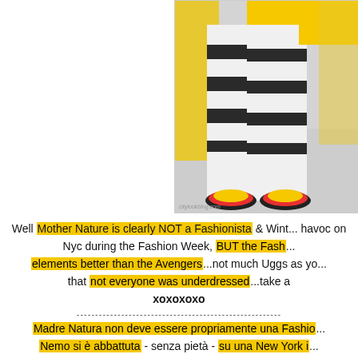[Figure (photo): Fashion photo showing striped pants with colorful shoes and yellow coat, person standing on snowy ground, partially cropped]
Well Mother Nature is clearly NOT a Fashionista & Wint... havoc on Nyc during the Fashion Week, BUT the Fash... elements better than the Avengers...not much Uggs as y... that not everyone was underdressed...take a... xoxoxoxo
Madre Natura non deve essere propriamente una Fashio... Nemo si è abbattuta - senza pietà - su una New York i... creando disagi, cancellazioni ed infiniti problemi come s...